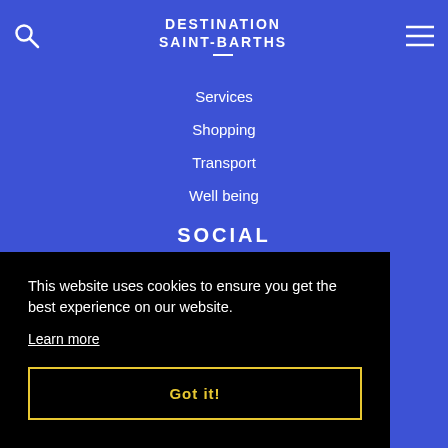DESTINATION SAINT-BARTHS
Services
Shopping
Transport
Well being
SOCIAL
This website uses cookies to ensure you get the best experience on our website.
Learn more
Got it!